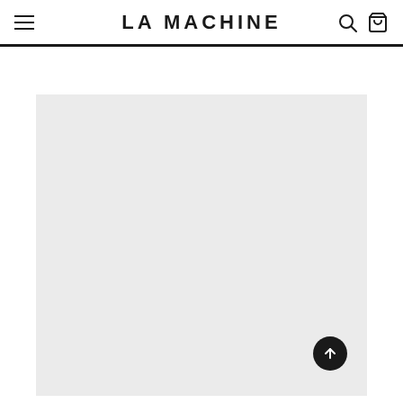LA MACHINE
[Figure (screenshot): Blank light gray product image placeholder on an e-commerce page for LA MACHINE brand]